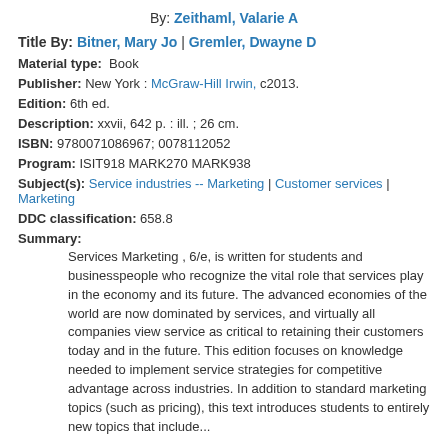By: Zeithaml, Valarie A
Title By: Bitner, Mary Jo | Gremler, Dwayne D
Material type: Book
Publisher: New York : McGraw-Hill Irwin, c2013.
Edition: 6th ed.
Description: xxvii, 642 p. : ill. ; 26 cm.
ISBN: 9780071086967; 0078112052
Program: ISIT918 MARK270 MARK938
Subject(s): Service industries -- Marketing | Customer services | Marketing
DDC classification: 658.8
Summary:
Services Marketing , 6/e, is written for students and businesspeople who recognize the vital role that services play in the economy and its future. The advanced economies of the world are now dominated by services, and virtually all companies view service as critical to retaining their customers today and in the future. This edition focuses on knowledge needed to implement service strategies for competitive advantage across industries. In addition to standard marketing topics (such as pricing), this text introduces students to entirely new topics that include...